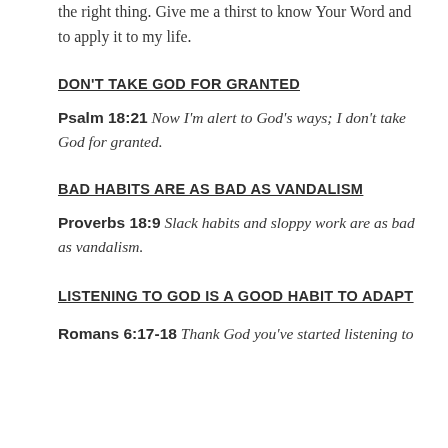the right thing. Give me a thirst to know Your Word and to apply it to my life.
DON'T TAKE GOD FOR GRANTED
Psalm 18:21 Now I'm alert to God's ways; I don't take God for granted.
BAD HABITS ARE AS BAD AS VANDALISM
Proverbs 18:9 Slack habits and sloppy work are as bad as vandalism.
LISTENING TO GOD IS A GOOD HABIT TO ADAPT
Romans 6:17-18 Thank God you've started listening to…